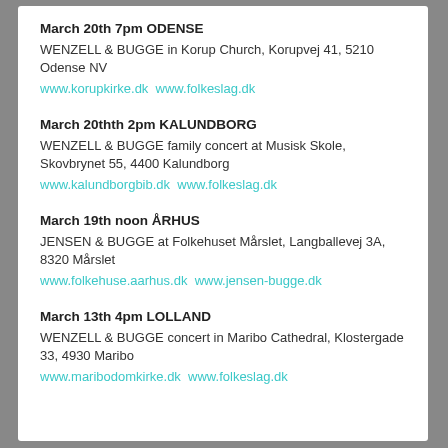March 20th 7pm ODENSE
WENZELL & BUGGE in Korup Church, Korupvej 41, 5210 Odense NV
www.korupkirke.dk www.folkeslag.dk
March 20thth 2pm KALUNDBORG
WENZELL & BUGGE family concert at Musisk Skole, Skovbrynet 55, 4400 Kalundborg
www.kalundborgbib.dk www.folkeslag.dk
March 19th noon ÅRHUS
JENSEN & BUGGE at Folkehuset Mårslet, Langballevej 3A, 8320 Mårslet
www.folkehuse.aarhus.dk www.jensen-bugge.dk
March 13th 4pm LOLLAND
WENZELL & BUGGE concert in Maribo Cathedral, Klostergade 33, 4930 Maribo
www.maribodomkirke.dk www.folkeslag.dk